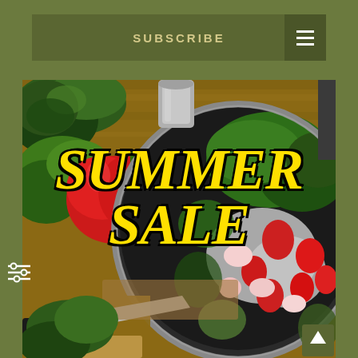SUBSCRIBE
[Figure (photo): Overhead view of a kitchen scene with a large wok/pan containing a salad with strawberries, radishes, greens; a red bell pepper, kale, and other vegetables on a wooden cutting board, with a chef's knife visible]
SUMMER SALE